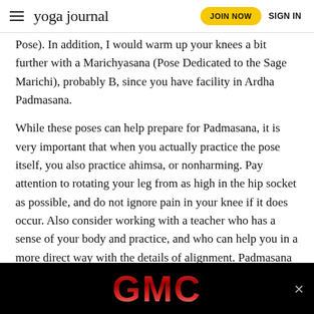yoga journal | JOIN NOW | SIGN IN
Pose). In addition, I would warm up your knees a bit further with a Marichyasana (Pose Dedicated to the Sage Marichi), probably B, since you have facility in Ardha Padmasana.
While these poses can help prepare for Padmasana, it is very important that when you actually practice the pose itself, you also practice ahimsa, or nonharming. Pay attention to rotating your leg from as high in the hip socket as possible, and do not ignore pain in your knee if it does occur. Also consider working with a teacher who has a sense of your body and practice, and who can help you in a more direct way with the details of alignment. Padmasana takes time and patience and is never worth forcing.
[Figure (other): GMC advertisement banner with red metallic GMC logo text on black background with a close (X) button]